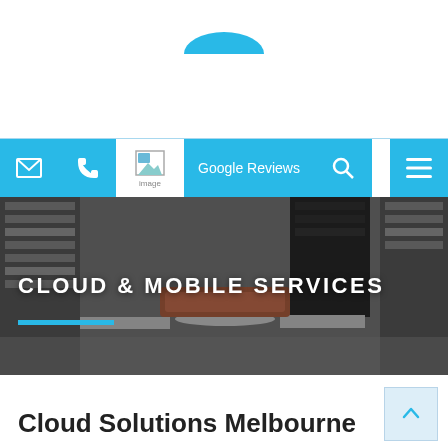[Figure (logo): Website logo area with teal arc/dome shape at top center]
[Figure (screenshot): Navigation bar with mail icon, phone icon, image placeholder, Google Reviews button, search icon, and hamburger menu icon — all in teal (#29b9e7) on white background]
[Figure (photo): Hero banner showing a shoe store interior with shelves of shoes, overlaid with bold white uppercase text 'CLOUD & MOBILE SERVICES' and a teal underline accent]
Cloud Solutions Melbourne